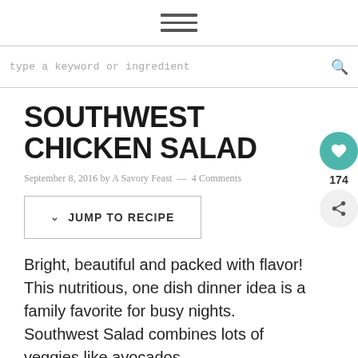Navigation menu icon (hamburger)
type a keyword or ingredient
SOUTHWEST CHICKEN SALAD
September 8, 2016 by A Savory Feast — 4 Comments
JUMP TO RECIPE
Bright, beautiful and packed with flavor! This nutritious, one dish dinner idea is a family favorite for busy nights. Southwest Salad combines lots of veggies like avocados